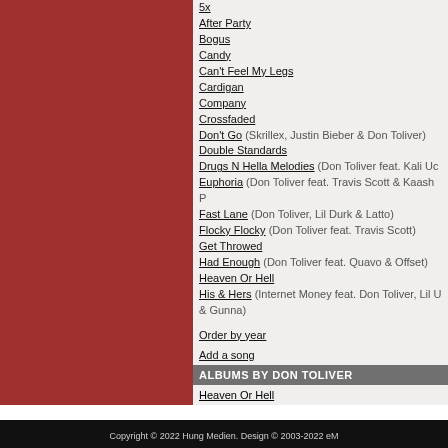5x
After Party
Bogus
Candy
Can't Feel My Legs
Cardigan
Company
Crossfaded
Don't Go (Skrillex, Justin Bieber & Don Toliver)
Double Standards
Drugs N Hella Melodies (Don Toliver feat. Kali Uc…)
Euphoria (Don Toliver feat. Travis Scott & Kaash P…)
Fast Lane (Don Toliver, Lil Durk & Latto)
Flocky Flocky (Don Toliver feat. Travis Scott)
Get Throwed
Had Enough (Don Toliver feat. Quavo & Offset)
Heaven Or Hell
His & Hers (Internet Money feat. Don Toliver, Lil U… & Gunna)
Order by year
Add a song
ALBUMS BY DON TOLIVER
Heaven Or Hell
Add an album
REVIEWS
No reviews yet.
Add a review
Copyright © 2022 Hung Medien. Design © 2003-2022 eM…